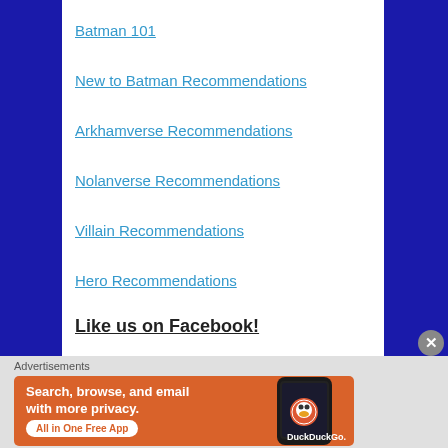Batman 101
New to Batman Recommendations
Arkhamverse Recommendations
Nolanverse Recommendations
Villain Recommendations
Hero Recommendations
Like us on Facebook!
Advertisements
[Figure (screenshot): DuckDuckGo advertisement banner: orange background with phone mockup. Text reads 'Search, browse, and email with more privacy. All in One Free App'. DuckDuckGo logo shown on phone screen.]